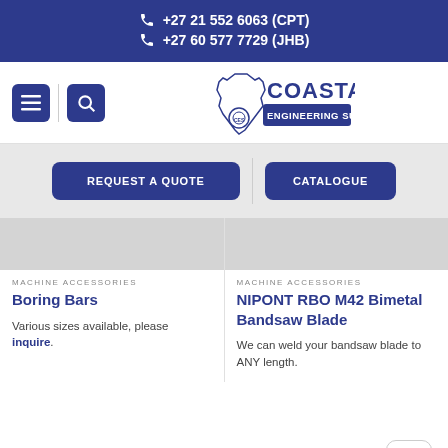+27 21 552 6063 (CPT)
+27 60 577 7729 (JHB)
[Figure (logo): Coastal Engineering Supplies logo with Africa map outline and CES gear emblem]
REQUEST A QUOTE
CATALOGUE
MACHINE ACCESSORIES
Boring Bars
Various sizes available, please inquire.
MACHINE ACCESSORIES
NIPONT RBO M42 Bimetal Bandsaw Blade
We can weld your bandsaw blade to ANY length.